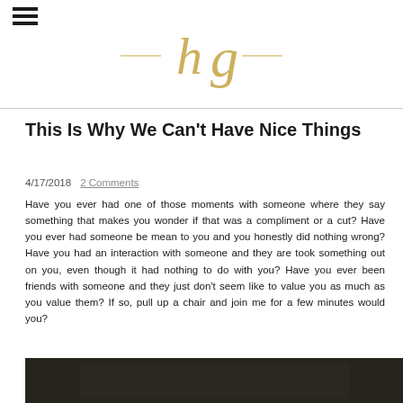hg (logo)
This Is Why We Can't Have Nice Things
4/17/2018   2 Comments
Have you ever had one of those moments with someone where they say something that makes you wonder if that was a compliment or a cut? Have you ever had someone be mean to you and you honestly did nothing wrong? Have you had an interaction with someone and they are took something out on you, even though it had nothing to do with you? Have you ever been friends with someone and they just don't seem like to value you as much as you value them? If so, pull up a chair and join me for a few minutes would you?
[Figure (photo): Bottom strip showing a dark photograph, partially visible]